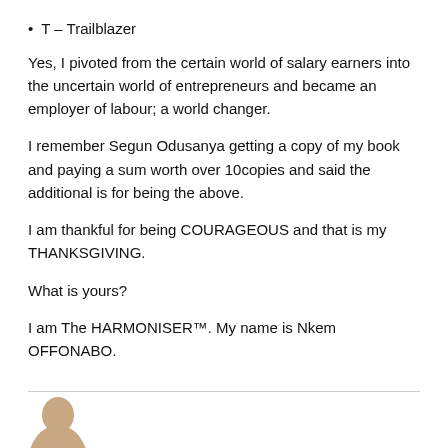T – Trailblazer
Yes, I pivoted from the certain world of salary earners into the uncertain world of entrepreneurs and became an employer of labour; a world changer.
I remember Segun Odusanya getting a copy of my book and paying a sum worth over 10copies and said the additional is for being the above.
I am thankful for being COURAGEOUS and that is my THANKSGIVING.
What is yours?
I am The HARMONISER™. My name is Nkem OFFONABO.
[Figure (photo): Partial photo of a person at the bottom of the page]